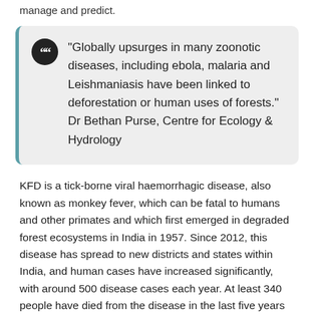manage and predict.
"Globally upsurges in many zoonotic diseases, including ebola, malaria and Leishmaniasis have been linked to deforestation or human uses of forests." Dr Bethan Purse, Centre for Ecology & Hydrology
KFD is a tick-borne viral haemorrhagic disease, also known as monkey fever, which can be fatal to humans and other primates and which first emerged in degraded forest ecosystems in India in 1957. Since 2012, this disease has spread to new districts and states within India, and human cases have increased significantly, with around 500 disease cases each year. At least 340 people have died from the disease in the last five years with the mortality rate currently between 10 to 30 percent of those infected. Poor forest communities are most affected, including